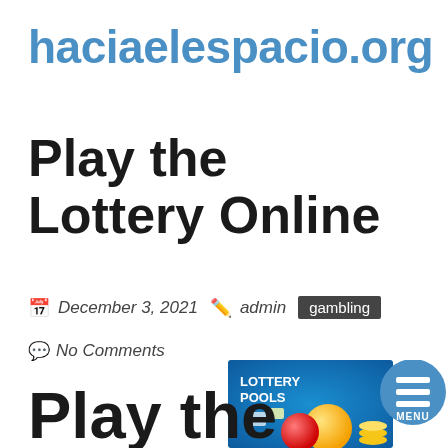haciaelespacio.org
Play the Lottery Online
December 3, 2021  admin  gambling
No Comments
[Figure (illustration): Lottery pools promotional image with colorful lottery balls, tickets, and coins on a blue background with LOTTERY POOLS text, and a circular menu button overlay]
Play the